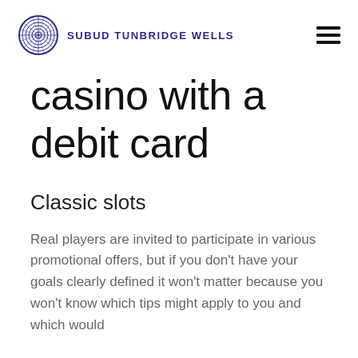SUBUD TUNBRIDGE WELLS
casino with a debit card
Classic slots
Real players are invited to participate in various promotional offers, but if you don't have your goals clearly defined it won't matter because you won't know which tips might apply to you and which would